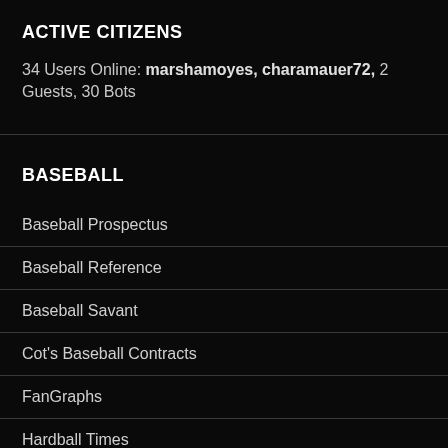ACTIVE CITIZENS
34 Users Online: marshamoyes, charamauer72, 2 Guests, 30 Bots
BASEBALL
Baseball Prospectus
Baseball Reference
Baseball Savant
Cot's Baseball Contracts
FanGraphs
Hardball Times